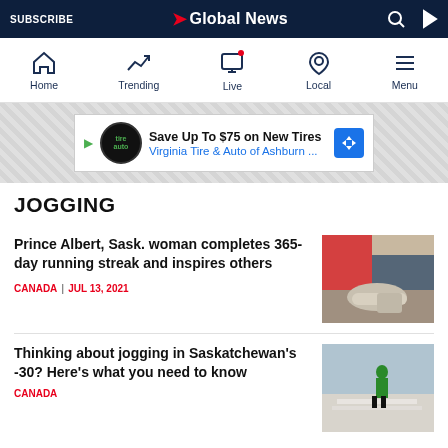SUBSCRIBE | Global News
[Figure (screenshot): Global News mobile app navigation bar with Home, Trending, Live, Local, Menu icons]
[Figure (infographic): Advertisement banner: Save Up To $75 on New Tires - Virginia Tire & Auto of Ashburn ...]
JOGGING
Prince Albert, Sask. woman completes 365-day running streak and inspires others
CANADA | JUL 13, 2021
[Figure (photo): Person tying running shoe laces outdoors in red jacket]
Thinking about jogging in Saskatchewan's -30? Here's what you need to know
[Figure (photo): Person in bright yellow jacket jogging on a snowy road in winter]